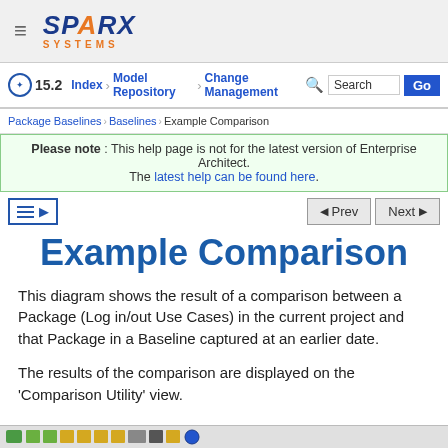SPARX SYSTEMS
15.2  Index  Model Repository  Change Management  Search  Go
Package Baselines > Baselines > Example Comparison
Please note : This help page is not for the latest version of Enterprise Architect. The latest help can be found here.
Example Comparison
This diagram shows the result of a comparison between a Package (Log in/out Use Cases) in the current project and that Package in a Baseline captured at an earlier date.
The results of the comparison are displayed on the 'Comparison Utility' view.
[Figure (screenshot): Bottom toolbar strip with various tool icons]